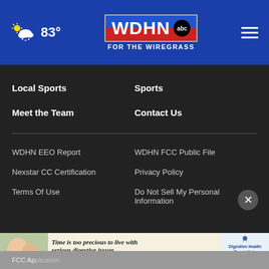WDHN ABC For the Wiregrass – 83°
Local Sports
Sports
Meet the Team
Contact Us
WDHN EEO Report
WDHN FCC Public File
Nexstar CC Certification
Privacy Policy
Terms Of Use
Do Not Sell My Personal Information
[Figure (screenshot): Advertisement banner: Time is too precious to live with serious digestive issues. Digestive Health Specialists. See the Experts right here at home.]
FCC Ap[plication...]